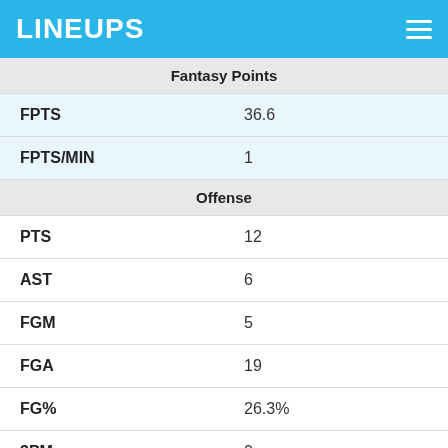LINEUPS
| Stat | Value |
| --- | --- |
| Fantasy Points |  |
| FPTS | 36.6 |
| FPTS/MIN | 1 |
| Offense |  |
| PTS | 12 |
| AST | 6 |
| FGM | 5 |
| FGA | 19 |
| FG% | 26.3% |
| 3PM | 0 |
| 3PA | 5 |
| 3P% | 0% |